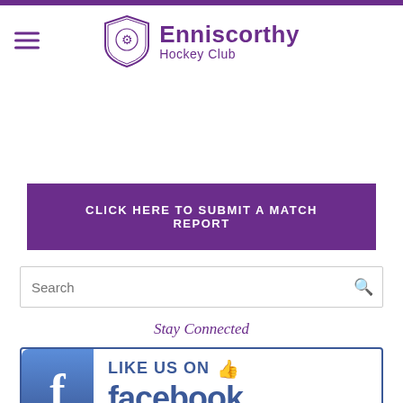[Figure (logo): Enniscorthy Hockey Club logo with shield emblem and club name in purple]
CLICK HERE TO SUBMIT A MATCH REPORT
Search
Stay Connected
[Figure (illustration): Facebook Like Us On banner with Facebook logo icon and text 'LIKE US ON facebook.']